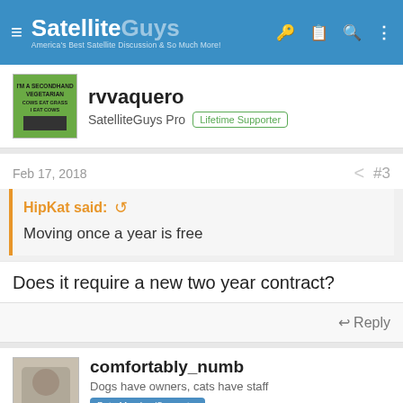SatelliteGuys — America's Best Satellite Discussion & So Much More!
rvvaquero
SatelliteGuys Pro  Lifetime Supporter
Feb 17, 2018  #3
HipKat said:
Moving once a year is free
Does it require a new two year contract?
Reply
comfortably_numb
Dogs have owners, cats have staff